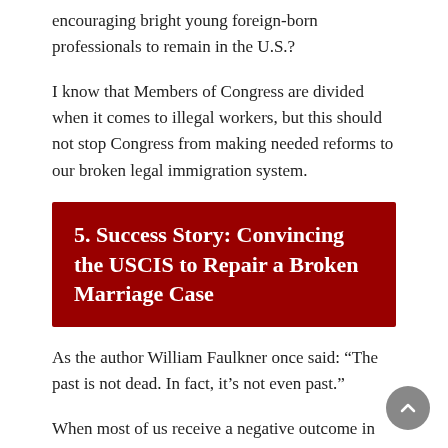encouraging bright young foreign-born professionals to remain in the U.S.?
I know that Members of Congress are divided when it comes to illegal workers, but this should not stop Congress from making needed reforms to our broken legal immigration system.
5. Success Story: Convincing the USCIS to Repair a Broken Marriage Case
As the author William Faulkner once said: “The past is not dead. In fact, it’s not even past.”
When most of us receive a negative outcome in some matter, we do what comes naturally: we forget and move on. Unfortunately for many prospective immigrants, the U.S. government does not forget or move on, ever (think of